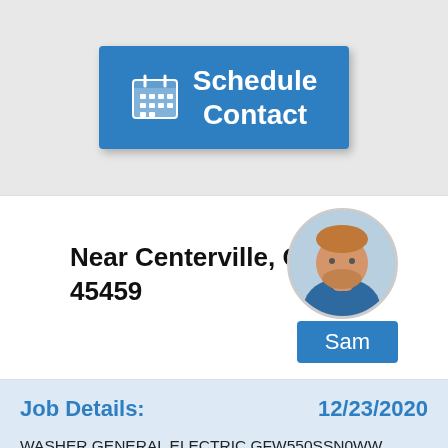[Figure (screenshot): Blue 'Schedule Contact' button with calendar icon on a gray background]
Near Centerville, OH 45459
[Figure (photo): Circular profile photo of technician Sam, a man with a beard wearing a blue shirt]
Sam
Job Details:
12/23/2020
WASHER GENERAL ELECTRIC GFW550SSN0WW Inspected unit and found the door lock misaligned and not closing properly. Made adjustments to the door a lock. Ran a test cycle and the door locked unlocked without any issues. All checks OK